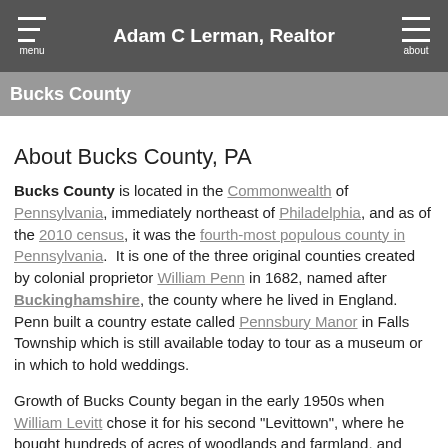Adam C Lerman, Realtor
Bucks County
About Bucks County, PA
Bucks County is located in the Commonwealth of Pennsylvania, immediately northeast of Philadelphia, and as of the 2010 census, it was the fourth-most populous county in Pennsylvania. It is one of the three original counties created by colonial proprietor William Penn in 1682, named after Buckinghamshire, the county where he lived in England. Penn built a country estate called Pennsbury Manor in Falls Township which is still available today to tour as a museum or in which to hold weddings.
Growth of Bucks County began in the early 1950s when William Levitt chose it for his second "Levittown", where he bought hundreds of acres of woodlands and farmland, and constructed 17,000 homes and dozens of schools, parks, libraries, and shopping centers. The next growth